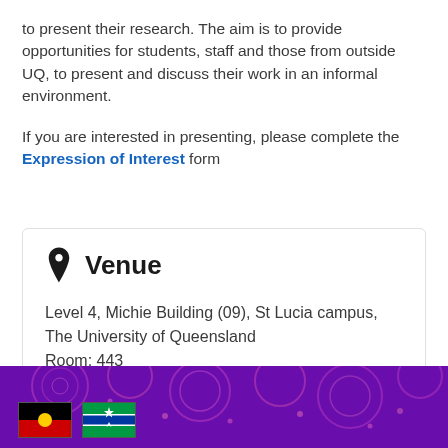to present their research. The aim is to provide opportunities for students, staff and those from outside UQ, to present and discuss their work in an informal environment.
If you are interested in presenting, please complete the Expression of Interest form
Venue
Level 4, Michie Building (09), St Lucia campus, The University of Queensland
Room: 443
[Figure (illustration): Purple decorative Aboriginal-style pattern footer band with two flags: Aboriginal flag (black top, red bottom, yellow circle) and Torres Strait Islander flag (blue and green with white star and black figure)]